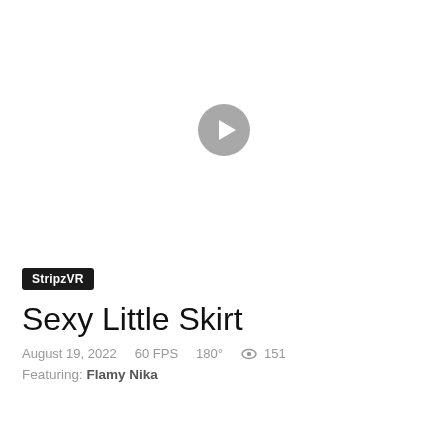[Figure (screenshot): Video thumbnail area with a circular gray play button centered on a white background]
StripzVR
Sexy Little Skirt
August 19, 2022   60 FPS   180°   👁 151
Featuring: Flamy Nika